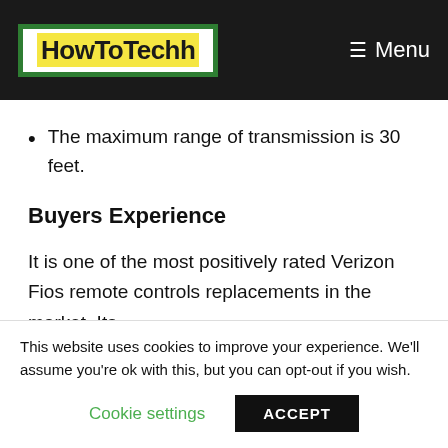HowToTechh — Menu
The maximum range of transmission is 30 feet.
Buyers Experience
It is one of the most positively rated Verizon Fios remote controls replacements in the market. Its
This website uses cookies to improve your experience. We'll assume you're ok with this, but you can opt-out if you wish.
Cookie settings   ACCEPT